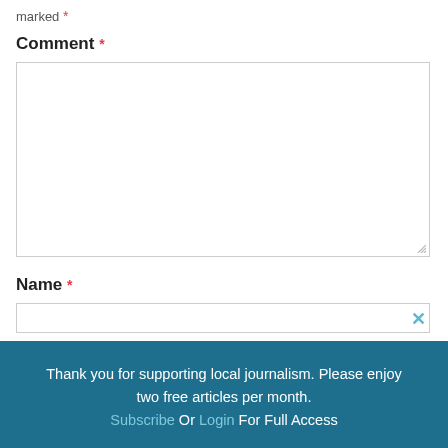marked *
Comment *
[Figure (screenshot): Empty text area input box for Comment field]
Name *
[Figure (screenshot): Empty text input box for Name field with a close X button]
Thank you for supporting local journalism. Please enjoy two free articles per month. Subscribe Or Login For Full Access